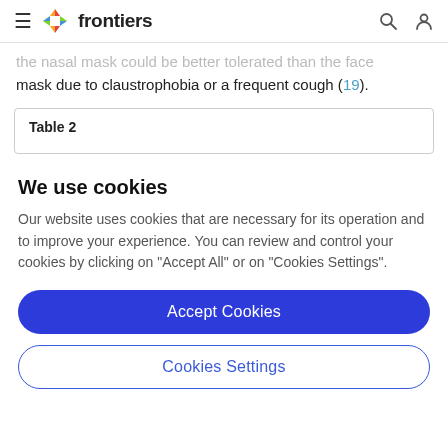frontiers
the nasal mask could be better tolerated than the face mask due to claustrophobia or a frequent cough (19).
| Table 2 |
| --- |
We use cookies
Our website uses cookies that are necessary for its operation and to improve your experience. You can review and control your cookies by clicking on "Accept All" or on "Cookies Settings".
Accept Cookies
Cookies Settings